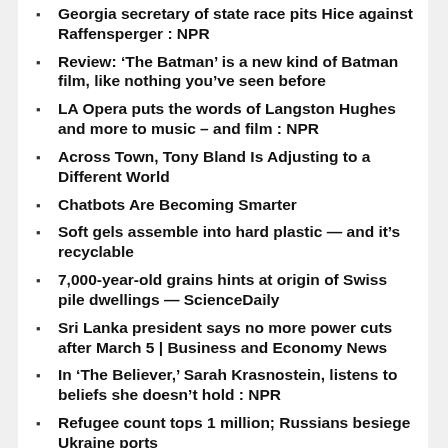Georgia secretary of state race pits Hice against Raffensperger : NPR
Review: ‘The Batman’ is a new kind of Batman film, like nothing you’ve seen before
LA Opera puts the words of Langston Hughes and more to music – and film : NPR
Across Town, Tony Bland Is Adjusting to a Different World
Chatbots Are Becoming Smarter
Soft gels assemble into hard plastic — and it’s recyclable
7,000-year-old grains hints at origin of Swiss pile dwellings — ScienceDaily
Sri Lanka president says no more power cuts after March 5 | Business and Economy News
In ‘The Believer,’ Sarah Krasnostein, listens to beliefs she doesn’t hold : NPR
Refugee count tops 1 million; Russians besiege Ukraine ports
Plasmas primed for rapid pulse production
Equine hepatitis viruses and hepatitis C —